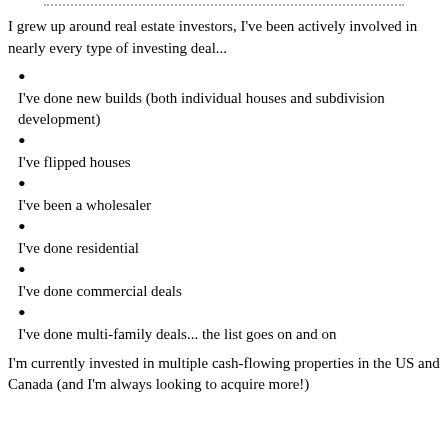I grew up around real estate investors, I've been actively involved in nearly every type of investing deal...
I've done new builds (both individual houses and subdivision development)
I've flipped houses
I've been a wholesaler
I've done residential
I've done commercial deals
I've done multi-family deals... the list goes on and on
I'm currently invested in multiple cash-flowing properties in the US and Canada (and I'm always looking to acquire more!)